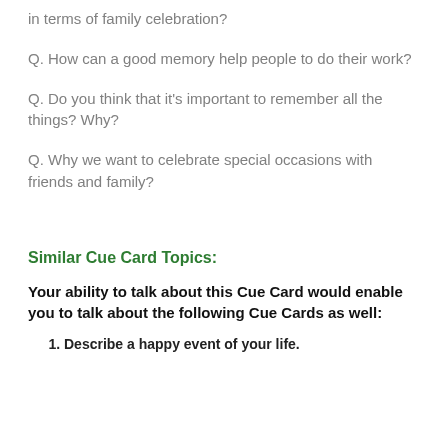in terms of family celebration?
Q. How can a good memory help people to do their work?
Q. Do you think that it's important to remember all the things? Why?
Q. Why we want to celebrate special occasions with friends and family?
Similar Cue Card Topics:
Your ability to talk about this Cue Card would enable you to talk about the following Cue Cards as well:
Describe a happy event of your life.